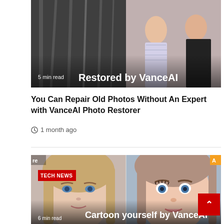[Figure (photo): Before and after photo restoration image with '5 min read' label and 'Restored by VanceAI' overlay text at the bottom]
You Can Repair Old Photos Without An Expert with VanceAI Photo Restorer
1 month ago
[Figure (photo): Before and after photo showing a real girl's face next to a cartoon/illustrated version, with 'TECH NEWS' badge, 're' and 'A' labels, and 'Cartoon yourself by VanceAI' overlay text with '6 min read' label]